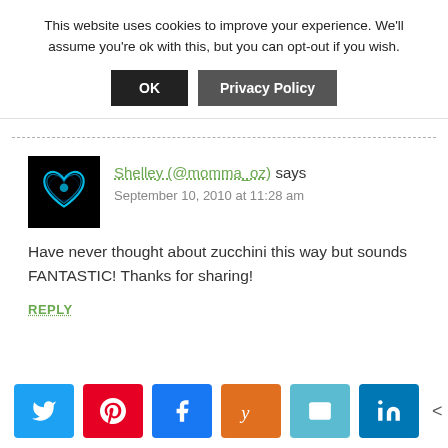This website uses cookies to improve your experience. We'll assume you're ok with this, but you can opt-out if you wish.
Shelley (@momma_oz) says
September 10, 2010 at 11:28 am
Have never thought about zucchini this way but sounds FANTASTIC! Thanks for sharing!
REPLY